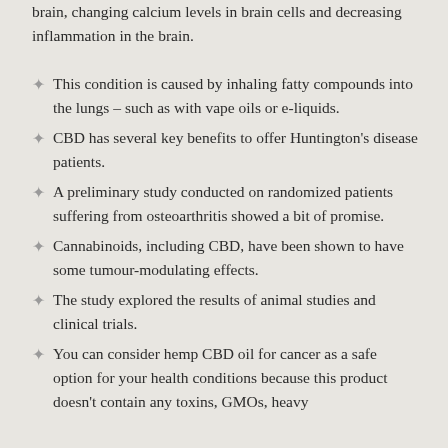brain, changing calcium levels in brain cells and decreasing inflammation in the brain.
This condition is caused by inhaling fatty compounds into the lungs – such as with vape oils or e-liquids.
CBD has several key benefits to offer Huntington's disease patients.
A preliminary study conducted on randomized patients suffering from osteoarthritis showed a bit of promise.
Cannabinoids, including CBD, have been shown to have some tumour-modulating effects.
The study explored the results of animal studies and clinical trials.
You can consider hemp CBD oil for cancer as a safe option for your health conditions because this product doesn't contain any toxins, GMOs, heavy